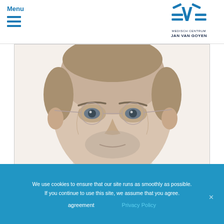Menu
[Figure (logo): Medisch Centrum Jan van Goyen logo with stylized bird/wing mark in blue]
[Figure (photo): Close-up portrait photo of an older man with glasses, grey stubble, and short grey-brown hair against a white background]
We use cookies to ensure that our site runs as smoothly as possible. If you continue to use this site, we assume that you agree.
agreement   Privacy Policy